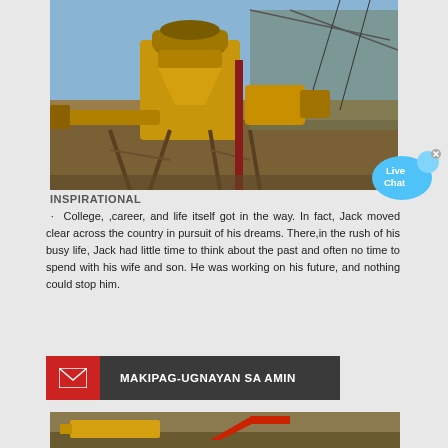[Figure (photo): Mining or quarrying site with large yellow industrial machinery and crusher equipment on metal scaffolding, open pit background.]
[Figure (infographic): Live Chat speech bubble widget in blue with an X close button.]
INSPIRATIONAL
· College, ,career, and life itself got in the way. In fact, Jack moved clear across the country in pursuit of his dreams. There,in the rush of his busy life, Jack had little time to think about the past and often no time to spend with his wife and son. He was working on his future, and nothing could stop him.
MAKIPAG-UGNAYAN SA AMIN
[Figure (photo): Partial view of yellow and red industrial vibrating screen or feeder equipment on an outdoor earthen ground.]